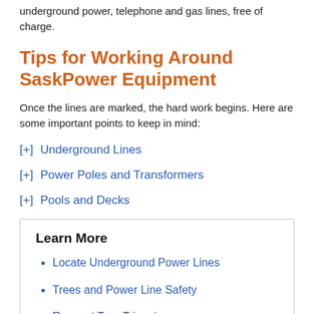underground power, telephone and gas lines, free of charge.
Tips for Working Around SaskPower Equipment
Once the lines are marked, the hard work begins. Here are some important points to keep in mind:
[+]  Underground Lines
[+]  Power Poles and Transformers
[+]  Pools and Decks
Learn More
Locate Underground Power Lines
Trees and Power Line Safety
Request Tree Trimming